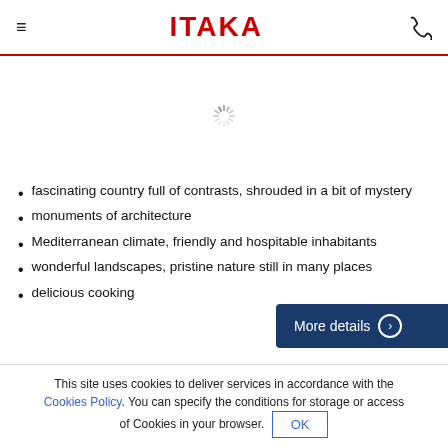ITAKA
[Figure (other): Loading spinner icon centered on a white background area]
fascinating country full of contrasts, shrouded in a bit of mystery
monuments of architecture
Mediterranean climate, friendly and hospitable inhabitants
wonderful landscapes, pristine nature still in many places
delicious cooking
More details
This site uses cookies to deliver services in accordance with the Cookies Policy. You can specify the conditions for storage or access of Cookies in your browser. OK